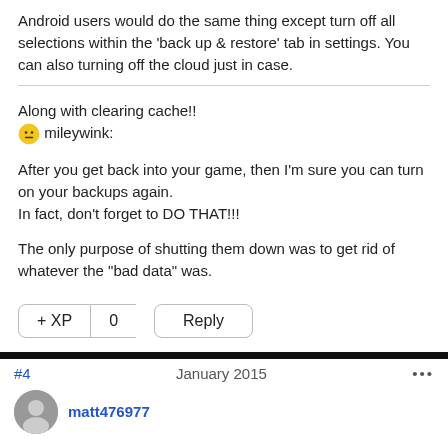Android users would do the same thing except turn off all selections within the 'back up & restore' tab in settings. You can also turning off the cloud just in case.
Along with clearing cache!!
😐 mileywink:
After you get back into your game, then I'm sure you can turn on your backups again.
In fact, don't forget to DO THAT!!!
The only purpose of shutting them down was to get rid of whatever the "bad data" was.
+ XP  0  Reply
#4  January 2015  •••
matt476977